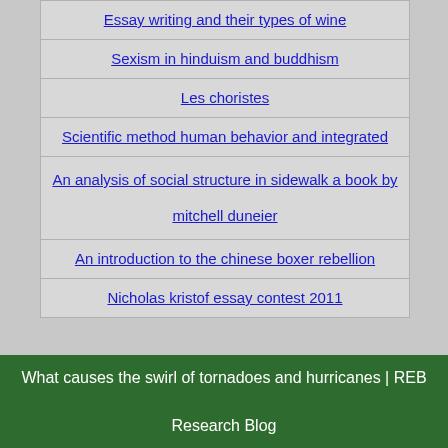Essay writing and their types of wine
Sexism in hinduism and buddhism
Les choristes
Scientific method human behavior and integrated
An analysis of social structure in sidewalk a book by mitchell duneier
An introduction to the chinese boxer rebellion
Nicholas kristof essay contest 2011
What causes the swirl of tornadoes and hurricanes | REB Research Blog